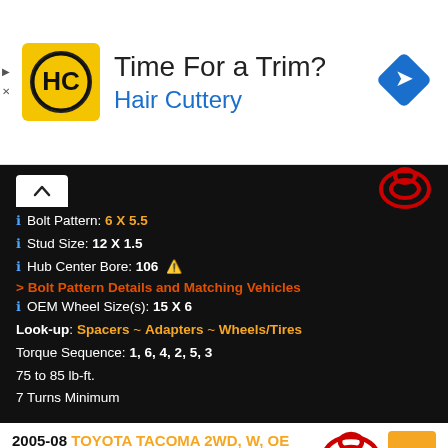[Figure (infographic): Hair Cuttery advertisement banner with logo, headline 'Time For a Trim?', brand name 'Hair Cuttery', and a navigation icon.]
2005-08 TOYOTA TACOMA 2WD, W, OE 16"
Bolt Pattern: 6 X 5.5
Stud Size: 12 X 1.5
Hub Center Bore: 106 ⚠
> Bolt Pattern Details and Matching Vehicles
OEM Wheel Size(s): 15 X 6
Look-up: Spacers ~ Adapters ~ Wheels/Tires
Torque Sequence: 1, 6, 4, 2, 5, 3
75 to 85 lb-ft.
7 Turns Minimum
2005-08 TOYOTA TACOMA 2WD, W, OE 16"
Bolt Pattern: 6 X 5.5